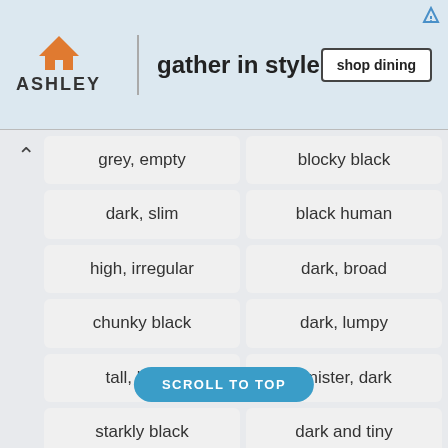[Figure (screenshot): Ashley Furniture advertisement banner with orange house logo, tagline 'gather in style', and 'shop dining' button]
grey, empty
blocky black
dark, slim
black human
high, irregular
dark, broad
chunky black
dark, lumpy
tall, beefy
sinister, dark
starkly black
dark and tiny
dim small
familiar orange
strange and bizarre
high, ragged
gaunt, grey